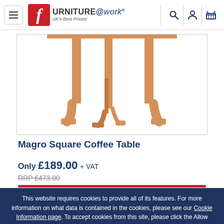Furniture@work — UK's Best Prices!
[Figure (photo): Partial view of a Magro Square Coffee Table showing wooden legs on white background]
Magro Square Coffee Table
Only £189.00 + VAT
RRP £473.00
This website requires cookies to provide all of its features. For more information on what data is contained in the cookies, please see our Cookie Information page. To accept cookies from this site, please click the Allow button.